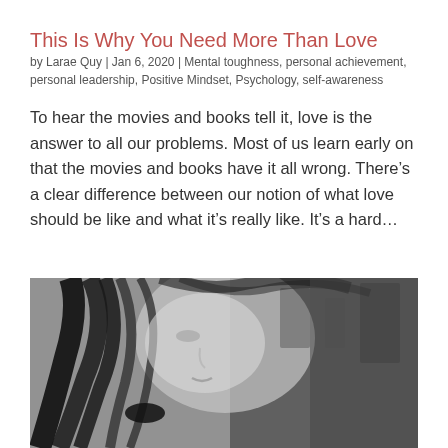This Is Why You Need More Than Love
by Larae Quy | Jan 6, 2020 | Mental toughness, personal achievement, personal leadership, Positive Mindset, Psychology, self-awareness
To hear the movies and books tell it, love is the answer to all our problems. Most of us learn early on that the movies and books have it all wrong. There's a clear difference between our notion of what love should be like and what it's really like. It's a hard...
[Figure (photo): Black and white close-up photo of a woman with flowing dark hair, looking upward, face and hair in motion]